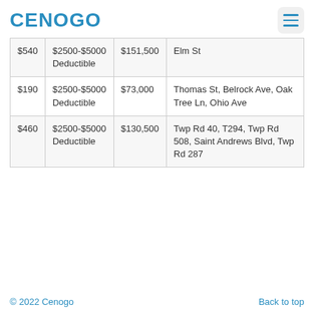CENOGO
| $540 | $2500-$5000 Deductible | $151,500 | Elm St |
| $190 | $2500-$5000 Deductible | $73,000 | Thomas St, Belrock Ave, Oak Tree Ln, Ohio Ave |
| $460 | $2500-$5000 Deductible | $130,500 | Twp Rd 40, T294, Twp Rd 508, Saint Andrews Blvd, Twp Rd 287 |
© 2022 Cenogo   Back to top